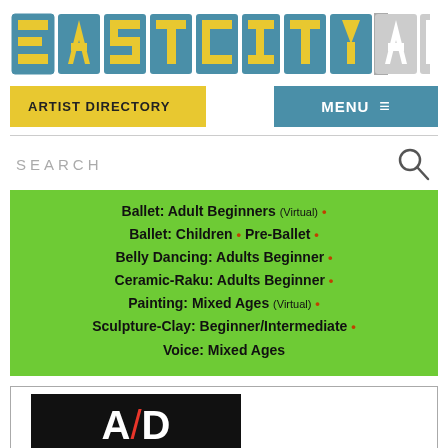EASTCITYART
ARTIST DIRECTORY
MENU
SEARCH
Ballet: Adult Beginners (Virtual) •
Ballet: Children • Pre-Ballet •
Belly Dancing: Adults Beginner •
Ceramic-Raku: Adults Beginner •
Painting: Mixed Ages (Virtual) •
Sculpture-Clay: Beginner/Intermediate •
Voice: Mixed Ages
[Figure (logo): Black rectangle with white letters A D and a red diagonal slash between them]